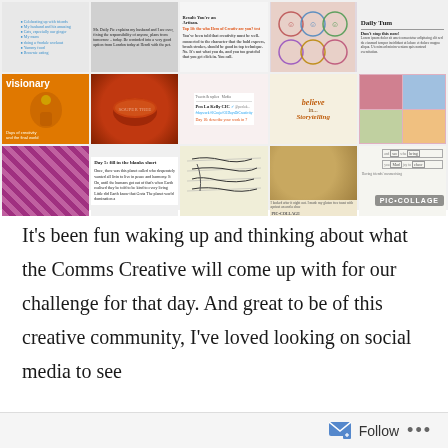[Figure (photo): A 5x3 collage grid of social media screenshots, tweets, photos, and creative activity images including a visionary orange image, tomato soup bowl, tweet screenshot, handwritten 'believe in storytelling' note, scrapbook, writing about 'Day 5: fill in the blanks short story', notebook, food photo, and word art. PIC-COLLAGE watermark in bottom right.]
It's been fun waking up and thinking about what the Comms Creative will come up with for our challenge for that day. And great to be of this creative community, I've loved looking on social media to see
Follow